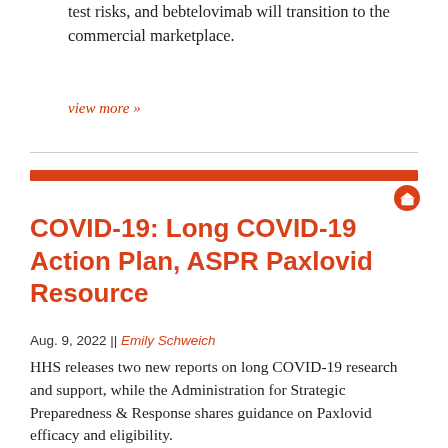test risks, and bebtelovimab will transition to the commercial marketplace.
view more »
COVID-19: Long COVID-19 Action Plan, ASPR Paxlovid Resource
Aug. 9, 2022 || Emily Schweich
HHS releases two new reports on long COVID-19 research and support, while the Administration for Strategic Preparedness & Response shares guidance on Paxlovid efficacy and eligibility.